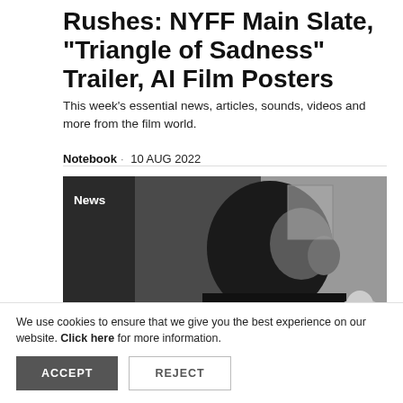Rushes: NYFF Main Slate, "Triangle of Sadness" Trailer, AI Film Posters
This week's essential news, articles, sounds, videos and more from the film world.
Notebook · 10 AUG 2022
[Figure (photo): Black and white photo of a man in profile looking to the right, with a 'News' label in the top left corner. A woman's face is partially visible in the bottom right.]
MUBI - STREAM BEAUTIFUL CINEMA.
We use cookies to ensure that we give you the best experience on our website. Click here for more information.
ACCEPT   REJECT